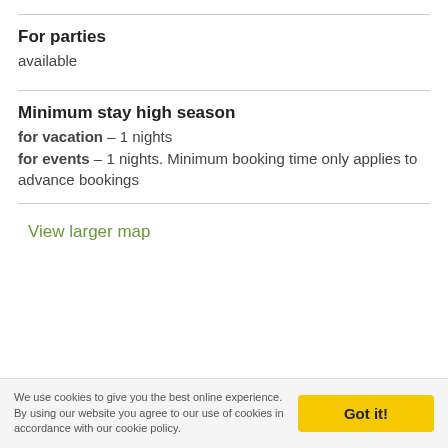For parties
available
Minimum stay high season
for vacation – 1 nights
for events – 1 nights. Minimum booking time only applies to advance bookings
View larger map
We use cookies to give you the best online experience. By using our website you agree to our use of cookies in accordance with our cookie policy.